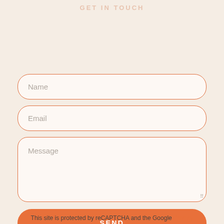GET IN TOUCH
[Figure (screenshot): Contact form with Name, Email, Message fields and a SEND button]
This site is protected by reCAPTCHA and the Google Privacy